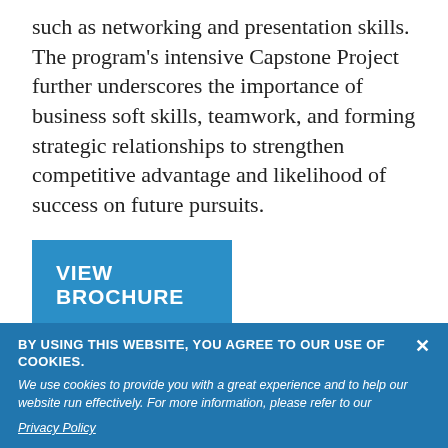such as networking and presentation skills. The program's intensive Capstone Project further underscores the importance of business soft skills, teamwork, and forming strategic relationships to strengthen competitive advantage and likelihood of success on future pursuits.
VIEW BROCHURE
[Figure (photo): Photo of people from behind, showing tops of heads with dark curly hair against a light beige background]
BY USING THIS WEBSITE, YOU AGREE TO OUR USE OF COOKIES. We use cookies to provide you with a great experience and to help our website run effectively. For more information, please refer to our Privacy Policy